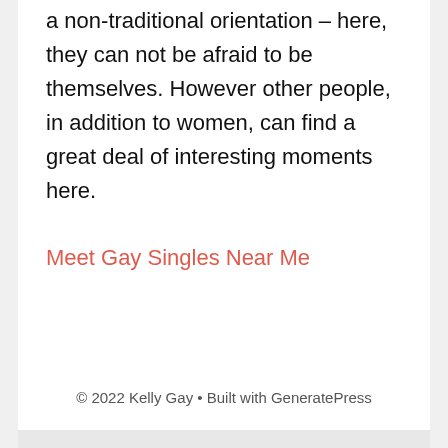a non-traditional orientation – here, they can not be afraid to be themselves. However other people, in addition to women, can find a great deal of interesting moments here.
Meet Gay Singles Near Me
© 2022 Kelly Gay • Built with GeneratePress